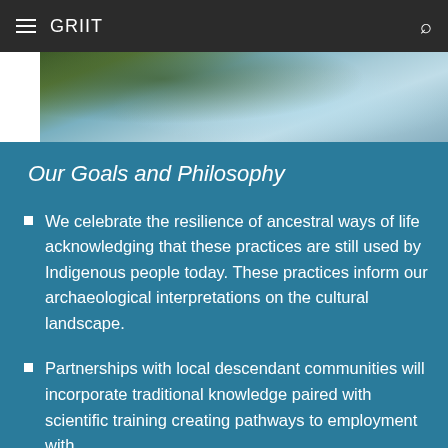GRIIT
[Figure (photo): Nature photo showing a rushing river or stream with rocky banks and green vegetation, viewed from above.]
Our Goals and Philosophy
We celebrate the resilience of ancestral ways of life acknowledging that these practices are still used by Indigenous people today. These practices inform our archaeological interpretations on the cultural landscape.
Partnerships with local descendant communities will incorporate traditional knowledge paired with scientific training creating pathways to employment with